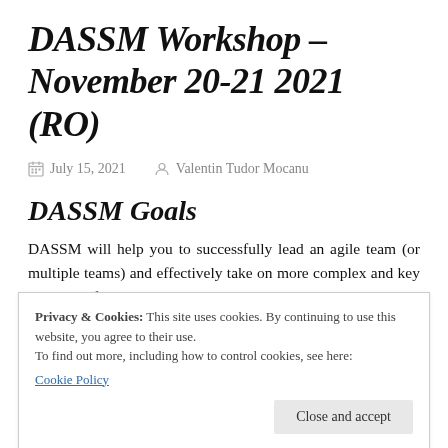DASSM Workshop – November 20-21 2021 (RO)
July 15, 2021   Valentin Tudor Mocanu
DASSM Goals
DASSM will help you to successfully lead an agile team (or multiple teams) and effectively take on more complex and key initiatives for
Privacy & Cookies: This site uses cookies. By continuing to use this website, you agree to their use.
To find out more, including how to control cookies, see here:
Cookie Policy
emotional intelligence, conflict management,